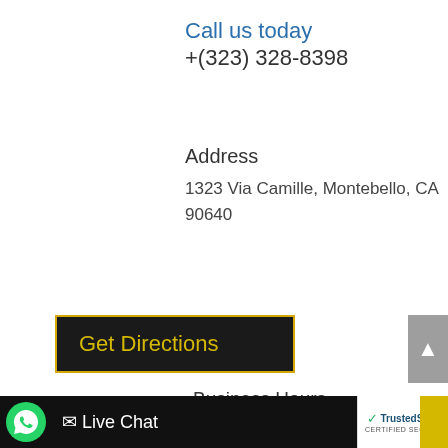Call us today
+(323) 328-8398
Address
1323 Via Camille, Montebello, CA 90640
Get Directions
Business Hours
Mon: Open 24 Hours
Live Chat
[Figure (logo): TrustedSite CERTIFIED SECURE badge with green checkmark]